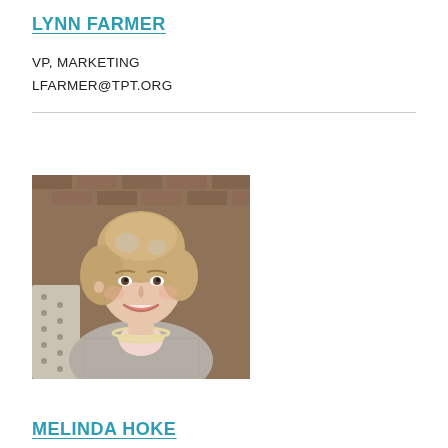LYNN FARMER
VP, MARKETING
LFARMER@TPT.ORG
[Figure (photo): Professional headshot of Lynn Farmer, a woman with curly blonde/gray hair, smiling, wearing a gray tweed jacket and pearl necklace, seated in front of a brick wall background.]
MELINDA HOKE